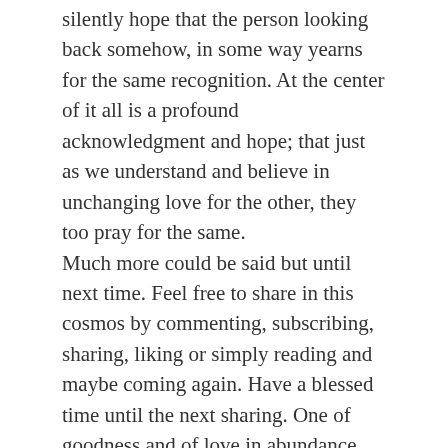silently hope that the person looking back somehow, in some way yearns for the same recognition. At the center of it all is a profound acknowledgment and hope; that just as we understand and believe in unchanging love for the other, they too pray for the same. Much more could be said but until next time. Feel free to share in this cosmos by commenting, subscribing, sharing, liking or simply reading and maybe coming again. Have a blessed time until the next sharing. One of goodness and of love in abundance.
Shukran
Share this: